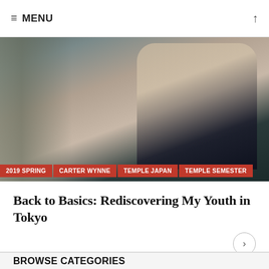≡ MENU ↑
[Figure (photo): Hero image showing a person in a dark coat and light-colored hood or scarf, with a tree trunk visible on the left, appearing to be in Japan]
2019 SPRING   CARTER WYNNE   TEMPLE JAPAN   TEMPLE SEMESTER
Back to Basics: Rediscovering My Youth in Tokyo
— by
February 28, 2019
BROWSE CATEGORIES